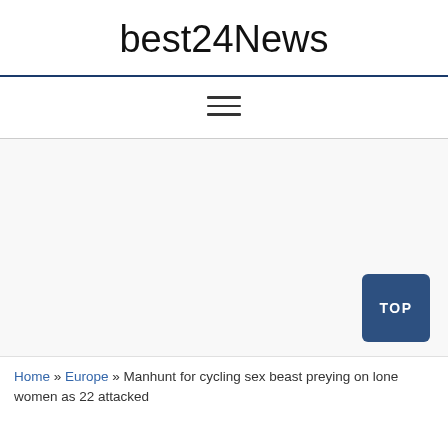best24News
[Figure (other): Navigation menu hamburger icon (three horizontal lines)]
[Figure (other): Advertisement or blank content area]
TOP
Home » Europe » Manhunt for cycling sex beast preying on lone women as 22 attacked